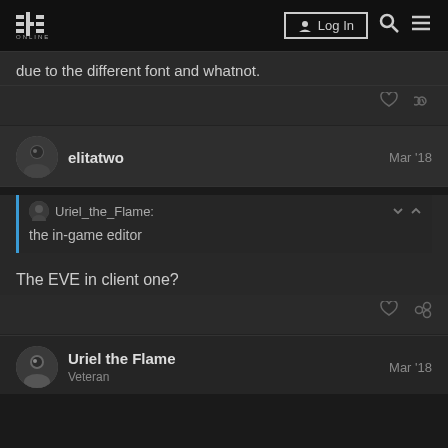EVE ONLINE — Log In
due to the different font and whatnot.
elitatwo — Mar '18
Uriel_the_Flame: the in-game editor
The EVE in client one?
Uriel the Flame — Veteran — Mar '18